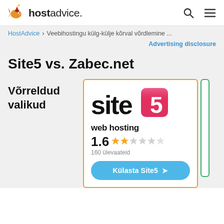hostadvice.
HostAdvice > Veebihostingu külg-külje kõrval võrdlemine ...
Advertising disclosure
Site5 vs. Zabec.net
Võrreldud valikud
[Figure (logo): Site5 web hosting logo with rating 1.6 stars and 160 reviews, plus Külasta Site5 button]
1.6  160 ülevaateid
Külasta Site5 →